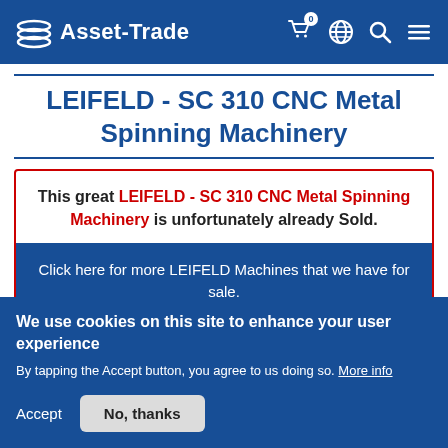Asset-Trade
LEIFELD - SC 310 CNC Metal Spinning Machinery
This great LEIFELD - SC 310 CNC Metal Spinning Machinery is unfortunately already Sold.
Click here for more LEIFELD Machines that we have for sale.
We use cookies on this site to enhance your user experience
By tapping the Accept button, you agree to us doing so. More info
Accept
No, thanks